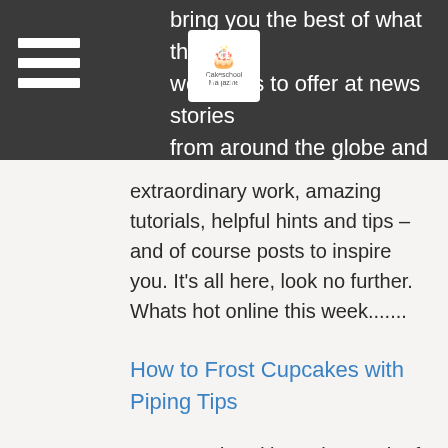bring you the best of what the cake world has to offer, at news stories from around the globe and locally,
extraordinary work, amazing tutorials, helpful hints and tips – and of course posts to inspire you. It's all here, look no further. Whats hot online this week.......
How to Frost Cupcakes with Piping Tips
Ever wondered just what each of the piping tips do? and what pattern they make on your buttercream? Well here's the tip... get it?
Niner Bakes has put together this